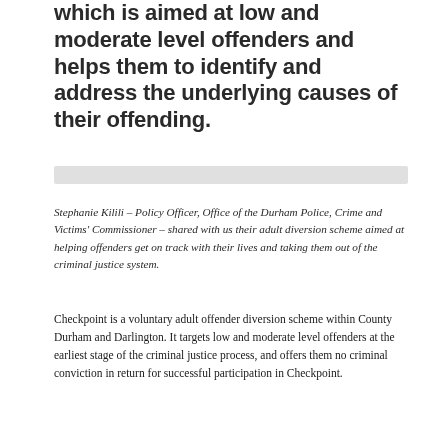which is aimed at low and moderate level offenders and helps them to identify and address the underlying causes of their offending.
Stephanie Kilili – Policy Officer, Office of the Durham Police, Crime and Victims' Commissioner – shared with us their adult diversion scheme aimed at helping offenders get on track with their lives and taking them out of the criminal justice system.
Checkpoint is a voluntary adult offender diversion scheme within County Durham and Darlington. It targets low and moderate level offenders at the earliest stage of the criminal justice process, and offers them no criminal conviction in return for successful participation in Checkpoint.